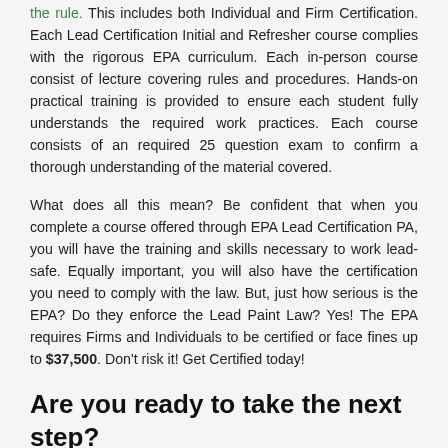the rule. This includes both Individual and Firm Certification. Each Lead Certification Initial and Refresher course complies with the rigorous EPA curriculum. Each in-person course consist of lecture covering rules and procedures. Hands-on practical training is provided to ensure each student fully understands the required work practices. Each course consists of an required 25 question exam to confirm a thorough understanding of the material covered.
What does all this mean? Be confident that when you complete a course offered through EPA Lead Certification PA, you will have the training and skills necessary to work lead-safe. Equally important, you will also have the certification you need to comply with the law. But, just how serious is the EPA? Do they enforce the Lead Paint Law? Yes! The EPA requires Firms and Individuals to be certified or face fines up to $37,500. Don't risk it! Get Certified today!
Are you ready to take the next step?